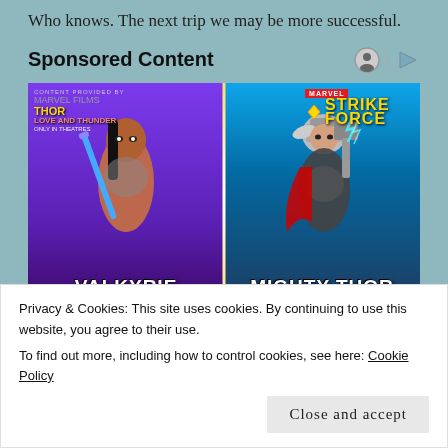Who knows. The next trip we may be more successful.
Sponsored Content
[Figure (illustration): Marvel Strike Force advertisement featuring Valkyrie (left, purple background, holding a blue sword) and Mighty Thor (right, blue/teal background, holding a lightning hammer). Logos for Thor: Love and Thunder and Marvel Strike Force appear at the top. Character names 'VALKYRIE' and 'MIGHTY THOR' appear at bottom with subtitle text 'HERO: COSMIC: SKILL' and 'HERO: COSMIC: MYSTIC'.]
Privacy & Cookies: This site uses cookies. By continuing to use this website, you agree to their use.
To find out more, including how to control cookies, see here: Cookie Policy
Close and accept